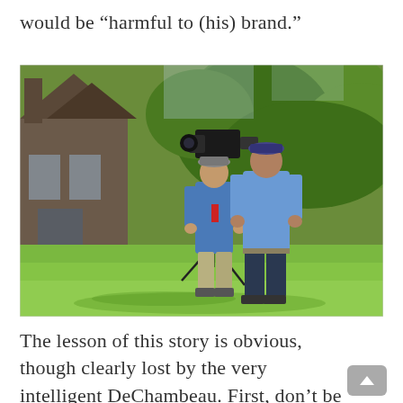would be “harmful to (his) brand.”
[Figure (photo): Two men standing on a golf course green with their backs to the camera. One is operating a TV camera on a tripod. A house and trees are visible in the background.]
The lesson of this story is obvious, though clearly lost by the very intelligent DeChambeau. First, don’t be an asshole. And if